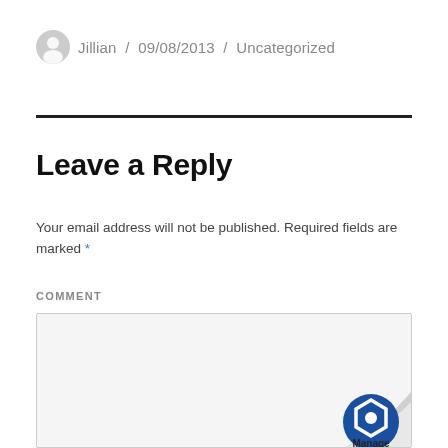Jillian / 09/08/2013 / Uncategorized
Leave a Reply
Your email address will not be published. Required fields are marked *
COMMENT
[Figure (illustration): Comment text input box with page-curl effect and Manage logo in bottom-right corner]